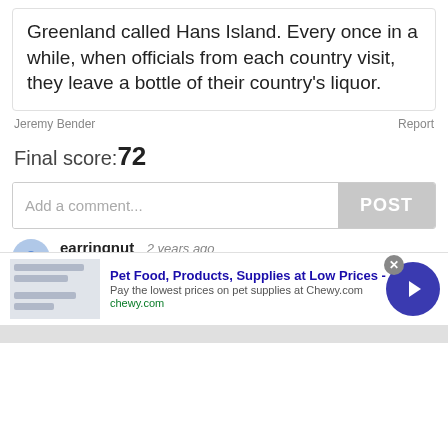Greenland called Hans Island. Every once in a while, when officials from each country visit, they leave a bottle of their country's liquor.
Jeremy Bender
Report
Final score: 72
Add a comment...
POST
earringnut  2 years ago
Makers Mark, not war.
▲ 29 ▼  Reply
View More Replies...
View more comments ∨
[Figure (screenshot): Advertisement banner for Chewy.com - Pet Food, Products, Supplies at Low Prices. Includes close button, ad image placeholder, text, and a blue circular arrow button.]